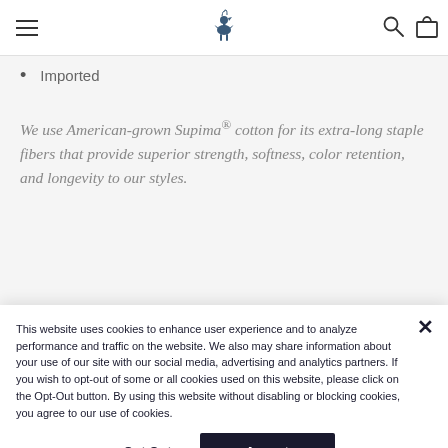Navigation bar with hamburger menu, logo, search and bag icons
Imported
We use American-grown Supima® cotton for its extra-long staple fibers that provide superior strength, softness, color retention, and longevity to our styles.
This website uses cookies to enhance user experience and to analyze performance and traffic on the website. We also may share information about your use of our site with our social media, advertising and analytics partners. If you wish to opt-out of some or all cookies used on this website, please click on the Opt-Out button. By using this website without disabling or blocking cookies, you agree to our use of cookies.